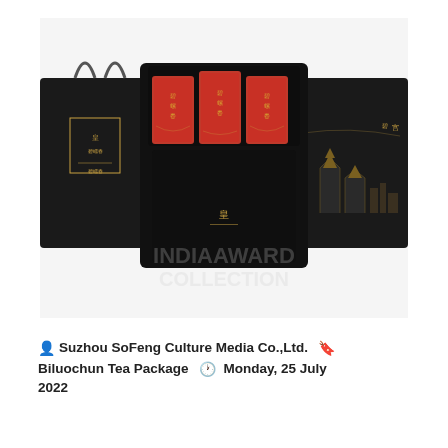[Figure (photo): Luxury Chinese tea gift set packaging. A black box is open, revealing three red rectangular tea tins with gold Chinese characters and decorative patterns. The black outer packaging features gold architectural illustrations of a Chinese cityscape. A black shopping bag with gold emblem is visible on the left. A faint watermark text is overlaid on the lower portion of the image.]
Suzhou SoFeng Culture Media Co.,Ltd.   Biluochun Tea Package   Monday, 25 July 2022